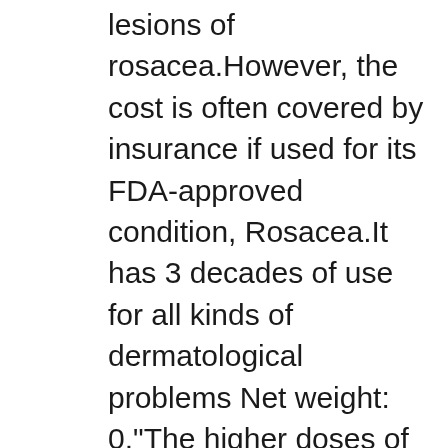lesions of rosacea.However, the cost is often covered by insurance if used for its FDA-approved condition, Rosacea.It has 3 decades of use for all kinds of dermatological problems Net weight: 0."The higher doses of ivermectin used in animals can be very toxic for humans," says Dr.Do not share your hairbrushes or combs with other people.Food and Drug Administration (FDA) has not approved Ivermectin for use in treating or preventing COVID-19 in humans.5% topical lotion is used to treat head lice infestations.Do not use the Plus' or Gold with praziquantel.All cats received 2 to 4 topical applications of ivermectin on the skin between the shoulder ....Wash all toys in very hot water (above 130 degrees F) for 5 to 10 minutes or seal in an airtight plastic bag for 2 weeks Ivermectin can be used to successfully manage this disease because it kills the babies